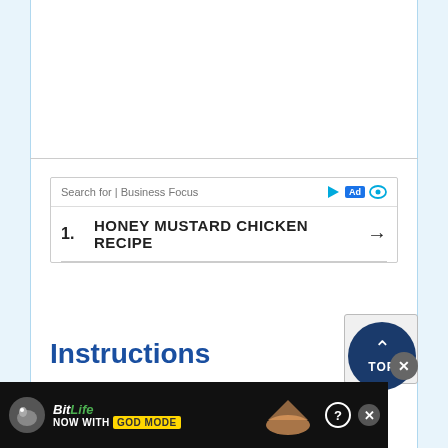[Figure (screenshot): Search ad box with 'Search for | Business Focus' bar and item '1. HONEY MUSTARD CHICKEN RECIPE' with arrow]
Instructions
Preheat the oven to 375 degrees F. In a mortar, lightly crush the mustard and fennel seeds with the crushed red pepper.
[Figure (screenshot): BitLife ad banner at bottom: 'BitLife NOW WITH GOD MODE' with question mark and X close button]
[Figure (other): reCAPTCHA widget in bottom right corner]
[Figure (other): TOP scroll-to-top circular button in dark navy blue]